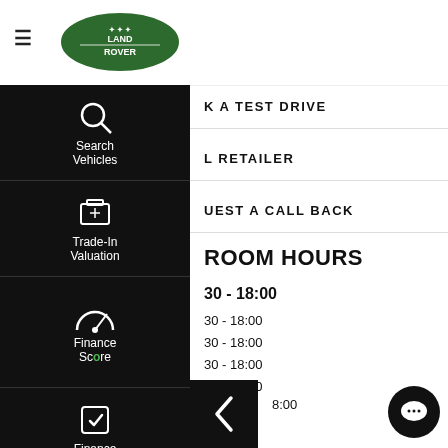[Figure (logo): Land Rover oval green logo in top bar]
[Figure (screenshot): Black sidebar navigation menu with icons: Search Vehicles, Trade-In Valuation, Finance Score, Finance Enquiry, Test Drive]
K A TEST DRIVE
L RETAILER
UEST A CALL BACK
ROOM HOURS
30 - 18:00
30 - 18:00
30 - 18:00
30 - 18:00
30 - 17:00
8:00
JUMP TO: